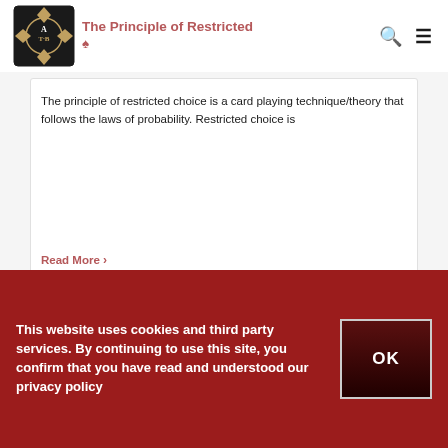ATB logo header with The Principle of Restricted navigation
The Principle of Restricted ♠
Tuesday, 23 July, 2019
The principle of restricted choice is a card playing technique/theory that follows the laws of probability. Restricted choice is
Read More >
This website uses cookies and third party services. By continuing to use this site, you confirm that you have read and understood our privacy policy